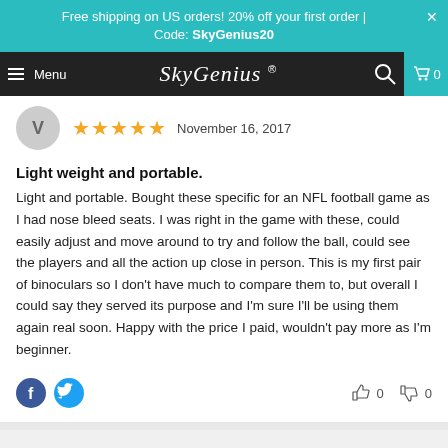Free shipping on US orders! 20% off your first order | Code: SkyGenius20
Menu SkyGenius ® 0
[Figure (screenshot): User avatar circle with letter V]
November 16, 2017
Light weight and portable.
Light and portable. Bought these specific for an NFL football game as I had nose bleed seats. I was right in the game with these, could easily adjust and move around to try and follow the ball, could see the players and all the action up close in person. This is my first pair of binoculars so I don't have much to compare them to, but overall I could say they served its purpose and I'm sure I'll be using them again real soon. Happy with the price I paid, wouldn't pay more as I'm beginner.